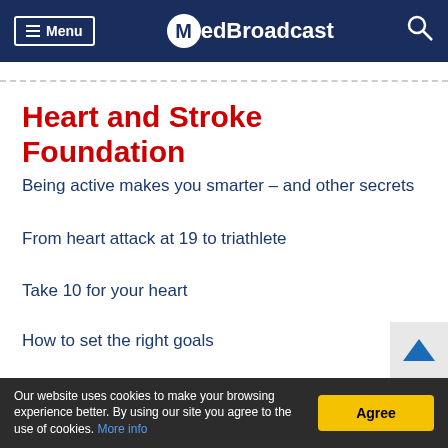Menu MedBroadcast
Heart and Stroke Foundation
Being active makes you smarter – and other secrets
From heart attack at 19 to triathlete
Take 10 for your heart
How to set the right goals
Virtual fitness
Our website uses cookies to make your browsing experience better. By using our site you agree to the use of cookies. More info